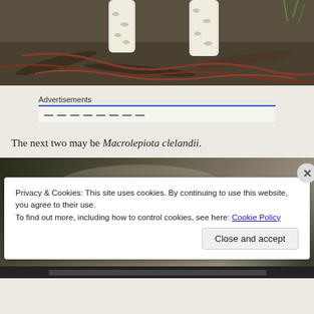[Figure (photo): Close-up photograph of two white mushrooms (stalks visible) growing among dark soil, bark, and reddish-brown roots/debris on the forest floor.]
Advertisements
The next two may be Macrolepiota clelandii.
[Figure (photo): Partially visible photograph of mushrooms, overlaid with a cookie consent banner.]
Privacy & Cookies: This site uses cookies. By continuing to use this website, you agree to their use.
To find out more, including how to control cookies, see here: Cookie Policy
Close and accept